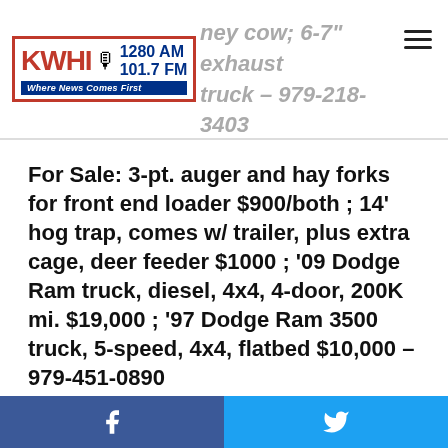KWHI 1280 AM 101.7 FM – Where News Comes First
For Sale: 3-pt. auger and hay forks for front end loader $900/both ; 14' hog trap, comes w/ trailer, plus extra cage, deer feeder $1000 ; '09 Dodge Ram truck, diesel, 4x4, 4-door, 200K mi. $19,000 ; '97 Dodge Ram 3500 truck, 5-speed, 4x4, flatbed $10,000 – 979-451-0890
For Sale: used LG washing machine, exce. cond., front end loader
Facebook share | Twitter share